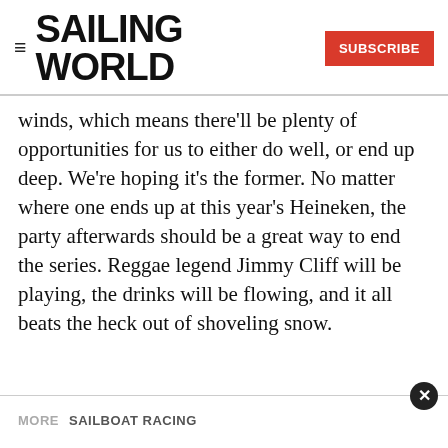SAILING WORLD | SUBSCRIBE
winds, which means there'll be plenty of opportunities for us to either do well, or end up deep. We're hoping it's the former. No matter where one ends up at this year's Heineken, the party afterwards should be a great way to end the series. Reggae legend Jimmy Cliff will be playing, the drinks will be flowing, and it all beats the heck out of shoveling snow.
MORE  SAILBOAT RACING